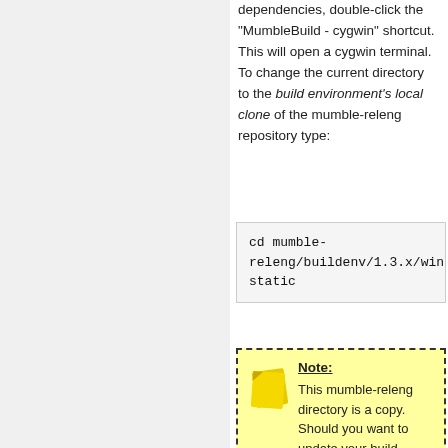dependencies, double-click the "MumbleBuild - cygwin" shortcut. This will open a cygwin terminal. To change the current directory to the build environment's local clone of the mumble-releng repository type:
cd mumble-releng/buildenv/1.3.x/win-static
Note: This mumble-releng directory is a copy. Should you want to update your build environment in the future, proceed